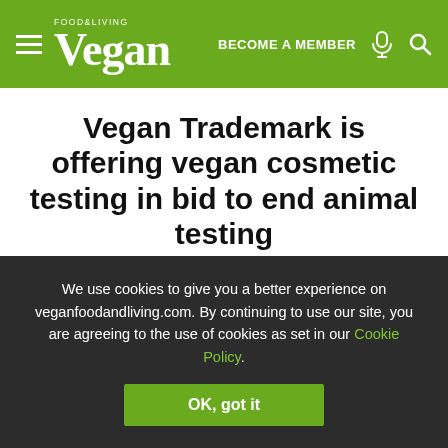Vegan Food & Living — BECOME A MEMBER
Vegan Trademark is offering vegan cosmetic testing in bid to end animal testing
Read Time:  |  3rd June 2021
[Figure (infographic): Social share icons: Pinterest (red), Twitter (blue bird), Facebook (blue), share arrow (grey), print (grey)]
We use cookies to give you a better experience on veganfoodandliving.com. By continuing to use our site, you are agreeing to the use of cookies as set in our Cookie Policy.
OK, got it